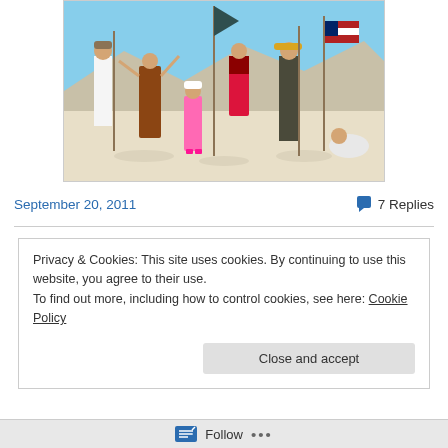[Figure (photo): Group of people in colorful costumes standing in a desert playa (Burning Man), holding tall poles/flags, with mountains in the background and bright sun.]
September 20, 2011
7 Replies
Privacy & Cookies: This site uses cookies. By continuing to use this website, you agree to their use.
To find out more, including how to control cookies, see here: Cookie Policy
Close and accept
Follow ...